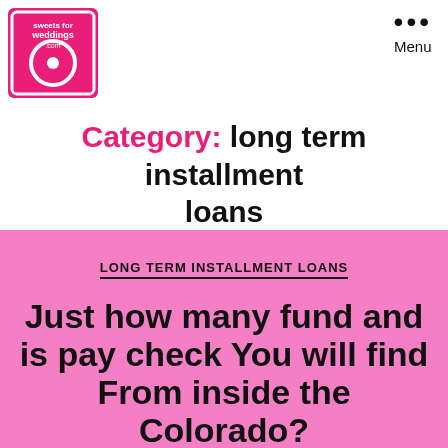[Figure (logo): Sweets for Weddings .com logo — pink/red square with white circular ring and text]
Menu
Category: long term installment loans
LONG TERM INSTALLMENT LOANS
Just how many fund and is pay check You will find From inside the Colorado?